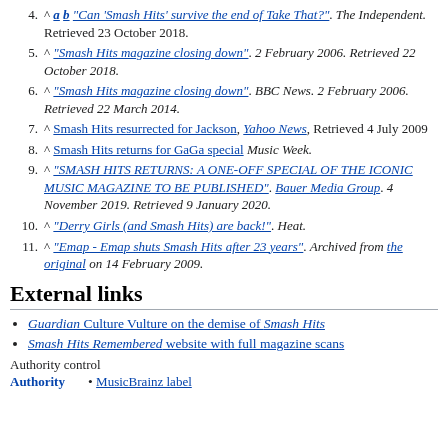4. ^ a b "Can 'Smash Hits' survive the end of Take That?". The Independent. Retrieved 23 October 2018.
5. ^ "Smash Hits magazine closing down". 2 February 2006. Retrieved 22 October 2018.
6. ^ "Smash Hits magazine closing down". BBC News. 2 February 2006. Retrieved 22 March 2014.
7. ^ Smash Hits resurrected for Jackson, Yahoo News, Retrieved 4 July 2009
8. ^ Smash Hits returns for GaGa special Music Week.
9. ^ "SMASH HITS RETURNS: A ONE-OFF SPECIAL OF THE ICONIC MUSIC MAGAZINE TO BE PUBLISHED". Bauer Media Group. 4 November 2019. Retrieved 9 January 2020.
10. ^ "Derry Girls (and Smash Hits) are back!". Heat.
11. ^ "Emap - Emap shuts Smash Hits after 23 years". Archived from the original on 14 February 2009.
External links
Guardian Culture Vulture on the demise of Smash Hits
Smash Hits Remembered website with full magazine scans
Authority control
Authority   • MusicBrainz label